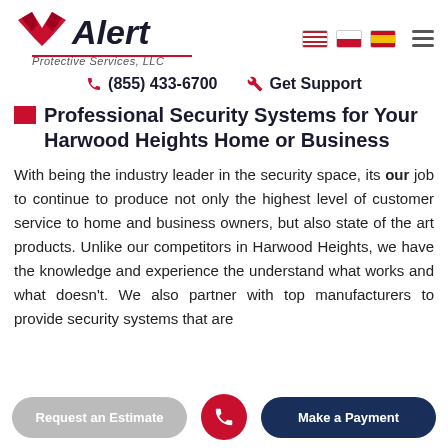[Figure (logo): Alert Protective Services LLC logo with red eagle wings and italic text]
(855) 433-6700   Get Support
Professional Security Systems for Your Harwood Heights Home or Business
With being the industry leader in the security space, its our job to continue to produce not only the highest level of customer service to home and business owners, but also state of the art products. Unlike our competitors in Harwood Heights, we have the knowledge and experience the understand what works and what doesn't. We also partner with top manufacturers to provide security systems that are
Request an Estimate   Make a Payment